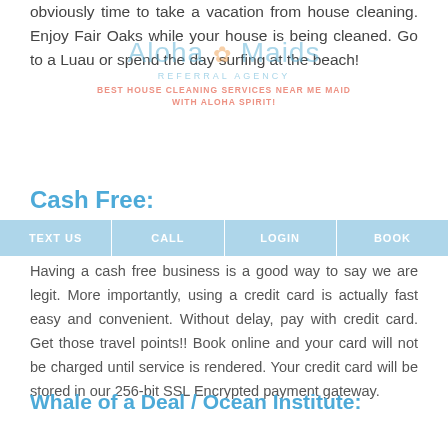obviously time to take a vacation from house cleaning. Enjoy Fair Oaks while your house is being cleaned. Go to a Luau or spend the day surfing at the beach!
[Figure (logo): Aloha Maids Referral Agency logo with script text and flower graphic, with tagline 'BEST HOUSE CLEANING SERVICES NEAR ME MAID WITH ALOHA SPIRIT!']
Cash Free:
| TEXT US | CALL | LOGIN | BOOK |
| --- | --- | --- | --- |
Having a cash free business is a good way to say we are legit. More importantly, using a credit card is actually fast easy and convenient. Without delay, pay with credit card. Get those travel points!! Book online and your card will not be charged until service is rendered. Your credit card will be stored in our 256-bit SSL Encrypted payment gateway.
Whale of a Deal / Ocean Institute: